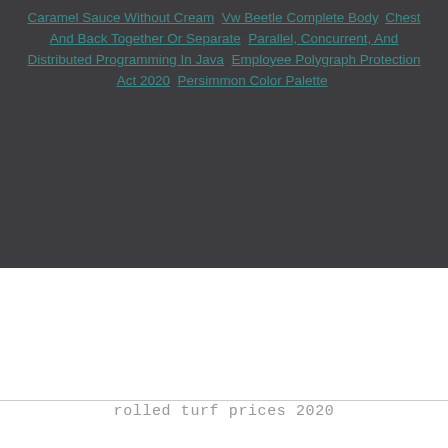Caramel Sauce Without Cream, Vw Beetle Complete Body, Chest And Back Together Or Separate, Parallel, Concurrent, And Distributed Programming In Java, Employee Polygraph Protection Act 2020, Persimmon Color Palette,
rolled turf prices 2020